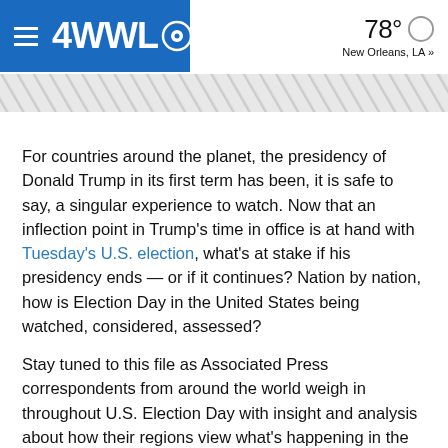4WWL [CBS logo] | 78° New Orleans, LA »
[Figure (other): Diagonal stripe decorative banner / advertisement placeholder]
For countries around the planet, the presidency of Donald Trump in its first term has been, it is safe to say, a singular experience to watch. Now that an inflection point in Trump's time in office is at hand with Tuesday's U.S. election, what's at stake if his presidency ends — or if it continues? Nation by nation, how is Election Day in the United States being watched, considered, assessed?
Stay tuned to this file as Associated Press correspondents from around the world weigh in throughout U.S. Election Day with insight and analysis about how their regions view what's happening in the United States — and what the various stakes might be.
RELATED: Election Day is here with massive voter turnout